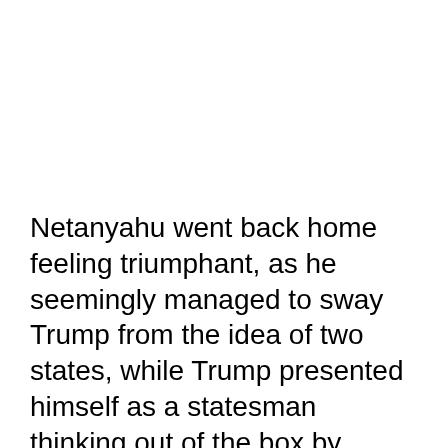Netanyahu went back home feeling triumphant, as he seemingly managed to sway Trump from the idea of two states, while Trump presented himself as a statesman thinking out of the box by looking at an Israeli-Arab comprehensive peace through which to fashion a solution to the Palestinian conflict.
Although CIA Director Mike Pompeo met with Mahmoud Abbas the day before the press conference, I was told by a top Jordanian official in Amman that Abbas was abundantly clear during the meeting that there is not and will never be an alternative to a two-state solution based on the Arab